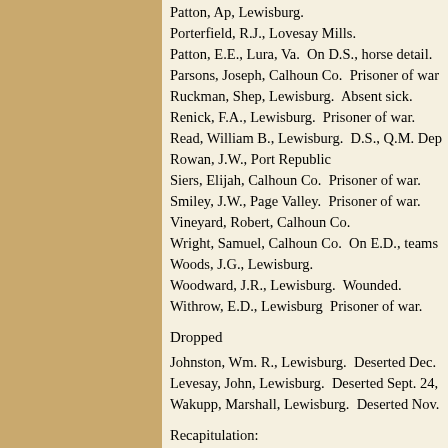Patton, Ap, Lewisburg.
Porterfield, R.J., Lovesay Mills.
Patton, E.E., Lura, Va.  On D.S., horse detail.
Parsons, Joseph, Calhoun Co.  Prisoner of war
Ruckman, Shep, Lewisburg.  Absent sick.
Renick, F.A., Lewisburg.  Prisoner of war.
Read, William B., Lewisburg.  D.S., Q.M. Dep
Rowan, J.W., Port Republic
Siers, Elijah, Calhoun Co.  Prisoner of war.
Smiley, J.W., Page Valley.  Prisoner of war.
Vineyard, Robert, Calhoun Co.
Wright, Samuel, Calhoun Co.  On E.D., teams
Woods, J.G., Lewisburg.
Woodward, J.R., Lewisburg.  Wounded.
Withrow, E.D., Lewisburg  Prisoner of war.
Dropped
Johnston, Wm. R., Lewisburg.  Deserted Dec.
Levesay, John, Lewisburg.  Deserted Sept. 24,
Wakupp, Marshall, Lewisburg.  Deserted Nov.
Recapitulation:
Present for duty          26
On detached service    12